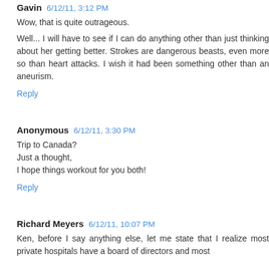Gavin 6/12/11, 3:12 PM
Wow, that is quite outrageous.
Well... I will have to see if I can do anything other than just thinking about her getting better. Strokes are dangerous beasts, even more so than heart attacks. I wish it had been something other than an aneurism.
Reply
Anonymous 6/12/11, 3:30 PM
Trip to Canada?
Just a thought,
I hope things workout for you both!
Reply
Richard Meyers 6/12/11, 10:07 PM
Ken, before I say anything else, let me state that I realize most private hospitals have a board of directors and most